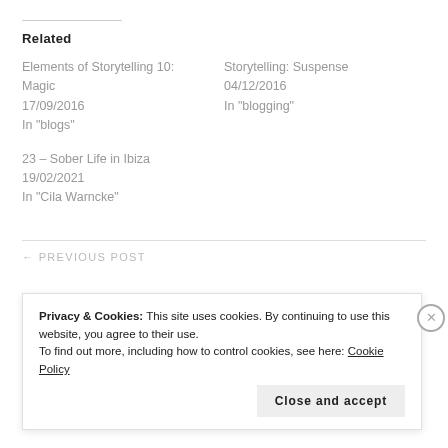Related
Elements of Storytelling 10: Magic
17/09/2016
In "blogs"
Storytelling: Suspense
04/12/2016
In "blogging"
23 – Sober Life in Ibiza
19/02/2021
In "Cila Warncke"
← PREVIOUS POST
Privacy & Cookies: This site uses cookies. By continuing to use this website, you agree to their use.
To find out more, including how to control cookies, see here: Cookie Policy
Close and accept